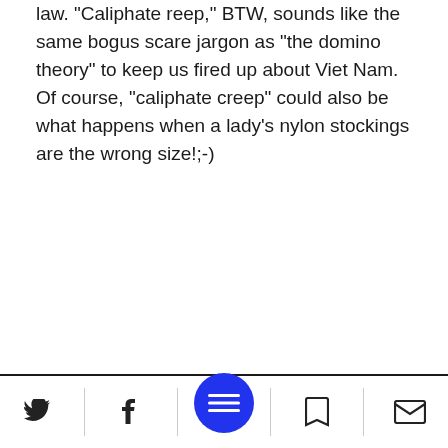law. "Caliphate reep," BTW, sounds like the same bogus scare jargon as "the domino theory" to keep us fired up about Viet Nam. Of course, "caliphate creep" could also be what happens when a lady's nylon stockings are the wrong size!;-)
Reply      Report
19  No Name  22:25 07.01.2018
👍 0   👎 0
I am an American that used to live in Israel. When asked if I was considering Alliya, I gave my political opinion that Israel should annex all land ever taken over in war. I stated the